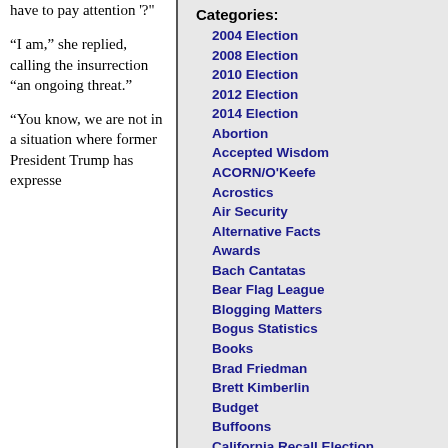have to pay attention '?'
“I am,” she replied, calling the insurrection “an ongoing threat.”
“You know, we are not in a situation where former President Trump has expresse
Categories:
2004 Election
2008 Election
2010 Election
2012 Election
2014 Election
Abortion
Accepted Wisdom
ACORN/O'Keefe
Acrostics
Air Security
Alternative Facts
Awards
Bach Cantatas
Bear Flag League
Blogging Matters
Bogus Statistics
Books
Brad Friedman
Brett Kimberlin
Budget
Buffoons
California Recall Election
Civil Liberties
Constitutional Law
Constitutional Vanguard
Court Decisions
Crime
Current Events
Deport the Criminals First
Dog Trainer
Economics